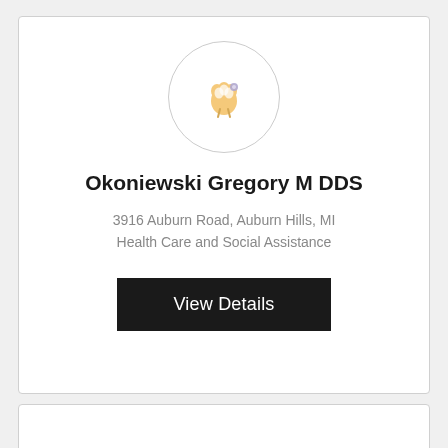[Figure (illustration): Circular avatar with a tooth/dental icon in orange and white, inside a light gray circle border]
Okoniewski Gregory M DDS
3916 Auburn Road, Auburn Hills, MI
Health Care and Social Assistance
View Details
Call Now